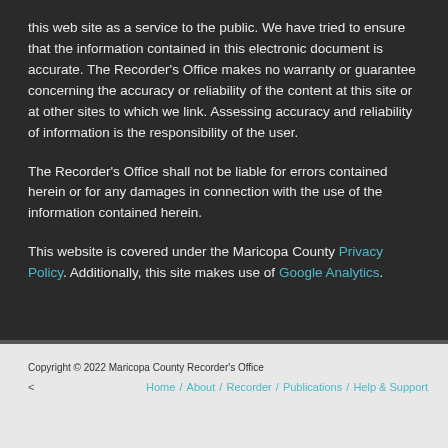this web site as a service to the public. We have tried to ensure that the information contained in this electronic document is accurate. The Recorder's Office makes no warranty or guarantee concerning the accuracy or reliability of the content at this site or at other sites to which we link. Assessing accuracy and reliability of information is the responsibility of the user.
The Recorder's Office shall not be liable for errors contained herein or for any damages in connection with the use of the information contained herein.
This website is covered under the Maricopa County Privacy Policy. Additionally, this site makes use of Google Analytics.
Copyright © 2022 Maricopa County Recorder's Office
< Home / About / Recorder / Publications / Help & Support